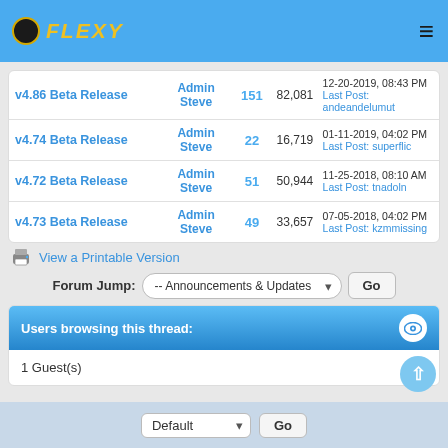FLEXY forum navigation header
| Thread | Author | Replies | Views | Last Post |
| --- | --- | --- | --- | --- |
| v4.86 Beta Release | Admin Steve | 151 | 82,081 | 12-20-2019, 08:43 PM Last Post: andeandelumut |
| v4.74 Beta Release | Admin Steve | 22 | 16,719 | 01-11-2019, 04:02 PM Last Post: superflic |
| v4.72 Beta Release | Admin Steve | 51 | 50,944 | 11-25-2018, 08:10 AM Last Post: tnadoln |
| v4.73 Beta Release | Admin Steve | 49 | 33,657 | 07-05-2018, 04:02 PM Last Post: kzmmissing |
View a Printable Version
Forum Jump: -- Announcements & Updates   Go
Users browsing this thread:
1 Guest(s)
Default   Go